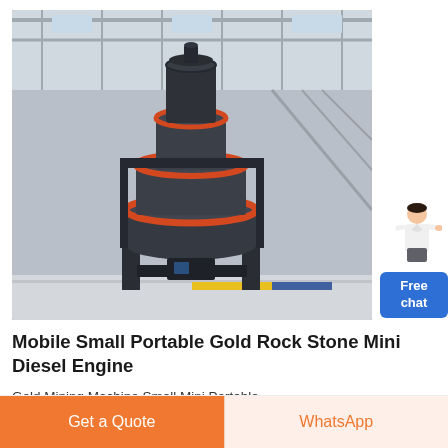[Figure (photo): Large industrial vertical cone/roller mill crusher machine photographed in a factory warehouse setting with steel structure roof visible in background. Machine is dark gray with orange/red ring accents.]
Mobile Small Portable Gold Rock Stone Mini Diesel Engine
Gold Mining Machine Small Mini Portable Mobile Crusher for Gold Tin Chrome Lead Zinc Mining Equipment Diesel PE250X400